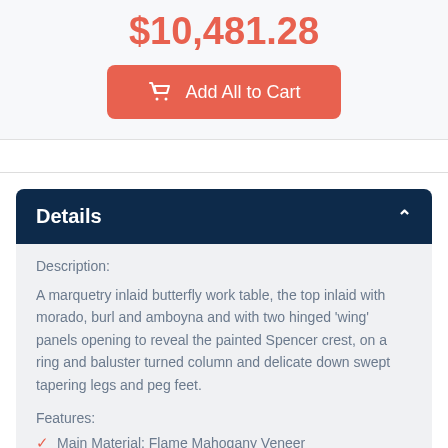$10,481.28
Add All to Cart
Details
Description:
A marquetry inlaid butterfly work table, the top inlaid with morado, burl and amboyna and with two hinged 'wing' panels opening to reveal the painted Spencer crest, on a ring and baluster turned column and delicate down swept tapering legs and peg feet.
Features:
Main Material: Flame Mahogany Veneer